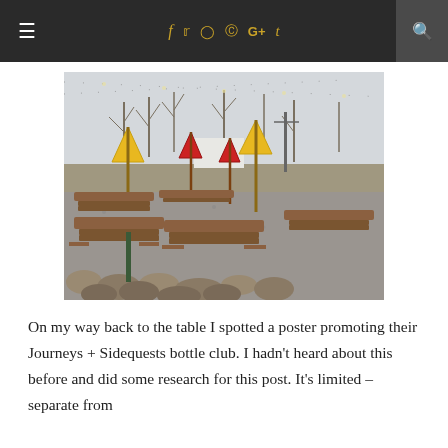≡  f  𝕥  ⊙  ℗  G+  t  🔍
[Figure (photo): Outdoor patio/beer garden with picnic tables arranged on gravel, yellow and red closed patio umbrellas, string lights overhead, bare trees in background, stone border in foreground, overcast sky.]
On my way back to the table I spotted a poster promoting their Journeys + Sidequests bottle club. I hadn't heard about this before and did some research for this post. It's limited – separate from